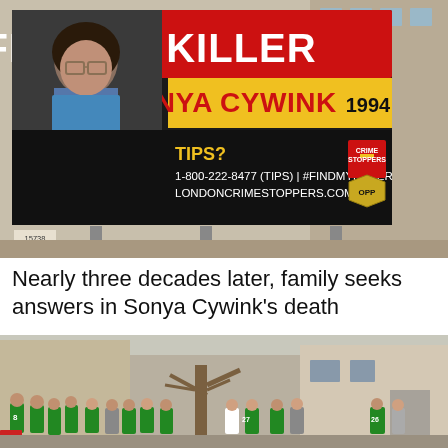[Figure (photo): Billboard reading FIND MY KILLER in white text on red background, with SONYA CYWINK 1994 in red on yellow, and tips information including 1-800-222-8477 (TIPS) | #FINDMYKILLER LONDONCRIMESTOPPERS.COM, with a photo of a woman with glasses, Crime Stoppers logo, and OPP shield badge.]
Nearly three decades later, family seeks answers in Sonya Cywink’s death
[Figure (photo): Outdoor scene showing a group of people wearing green jerseys gathered near a tree in front of a residential building.]